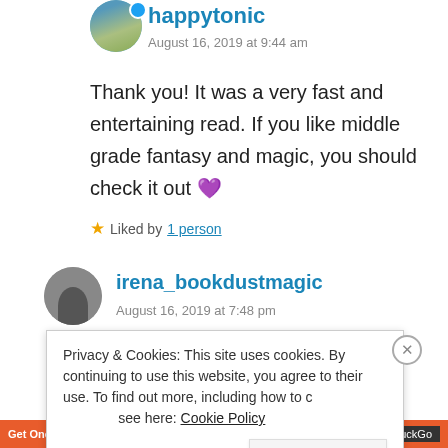happytonic
August 16, 2019 at 9:44 am
Thank you! It was a very fast and entertaining read. If you like middle grade fantasy and magic, you should check it out 💜
Liked by 1 person
irena_bookdustmagic
August 16, 2019 at 7:48 pm
Privacy & Cookies: This site uses cookies. By continuing to use this website, you agree to their use. To find out more, including how to control cookies, see here: Cookie Policy